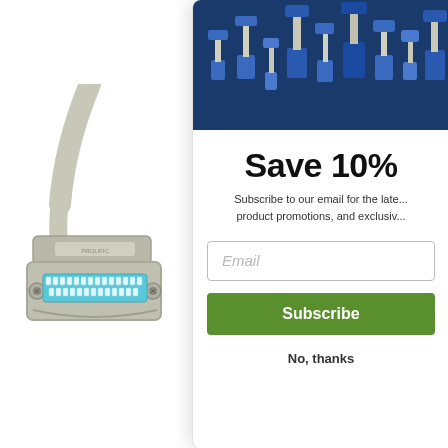[Figure (photo): Parallel/serial cable connector (DB-style centronics connector) with beige/gray cable, metallic housing and teal/blue pin contacts, photographed on white background]
[Figure (illustration): Banner image with dark blue background showing silhouettes of various cable connectors and plugs standing upright]
Save 10%
Subscribe to our email for the latest product promotions, and exclusiv
Email
Subscribe
No, thanks